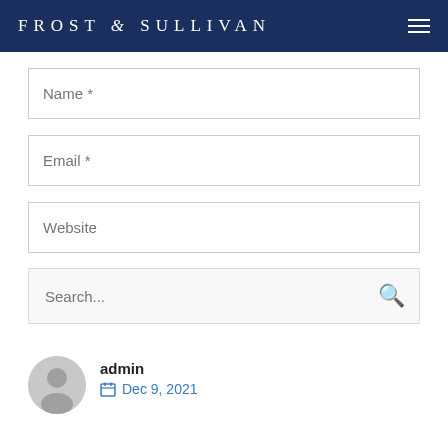FROST & SULLIVAN
Name *
Email *
Website
SUBMIT COMMENT
Search...
admin
Dec 9, 2021